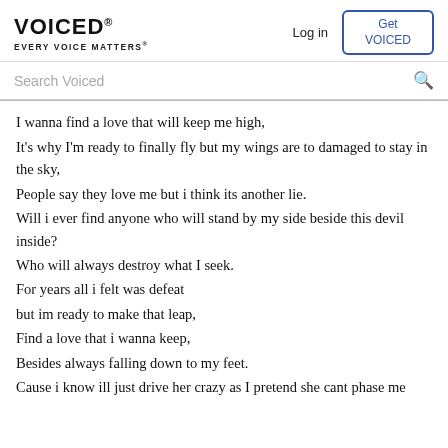VOICED® EVERY VOICE MATTERS®
Search Voiced
I wanna find a love that will keep me high,
It's why I'm ready to finally fly but my wings are to damaged to stay in the sky,
People say they love me but i think its another lie.
Will i ever find anyone who will stand by my side beside this devil inside?
Who will always destroy what I seek.
For years all i felt was defeat
but im ready to make that leap,
Find a love that i wanna keep,
Besides always falling down to my feet.
Cause i know ill just drive her crazy as I pretend she cant phase me